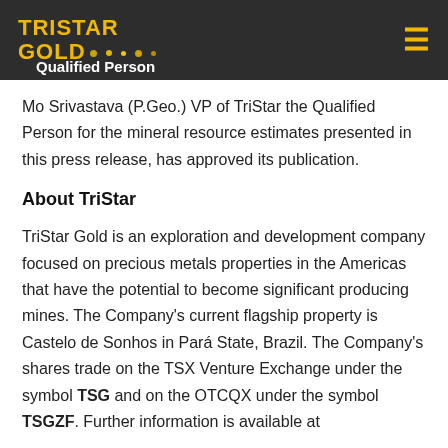TriStar Gold — Qualified Person
Mo Srivastava (P.Geo.) VP of TriStar the Qualified Person for the mineral resource estimates presented in this press release, has approved its publication.
About TriStar
TriStar Gold is an exploration and development company focused on precious metals properties in the Americas that have the potential to become significant producing mines. The Company's current flagship property is Castelo de Sonhos in Pará State, Brazil. The Company's shares trade on the TSX Venture Exchange under the symbol TSG and on the OTCQX under the symbol TSGZF. Further information is available at